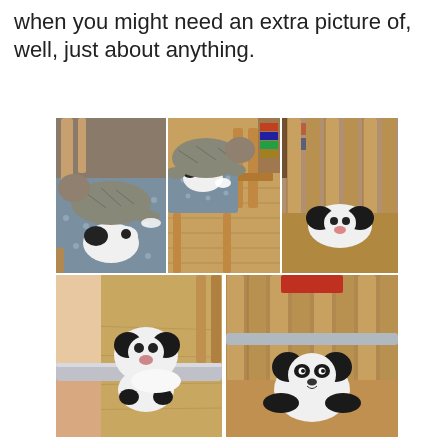when you might need an extra picture of, well, just about anything.
[Figure (photo): A collage of 5 photos showing a cat resting on top of a stuffed panda toy in various settings around wooden chairs.]